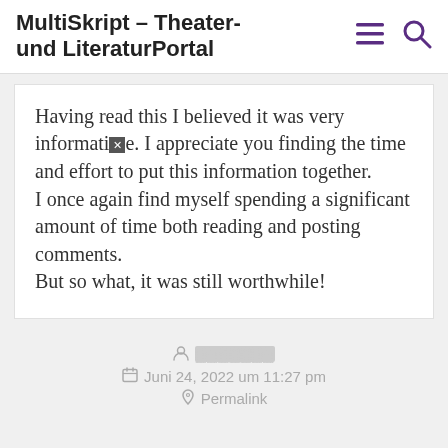MultiSkript – Theater- und LiteraturPortal
Having read this I believed it was very informative. I appreciate you finding the time and effort to put this information together.
I once again find myself spending a significant
amount of time both reading and posting comments.
But so what, it was still worthwhile!
Juni 24, 2022 um 11:27 pm
Permalink